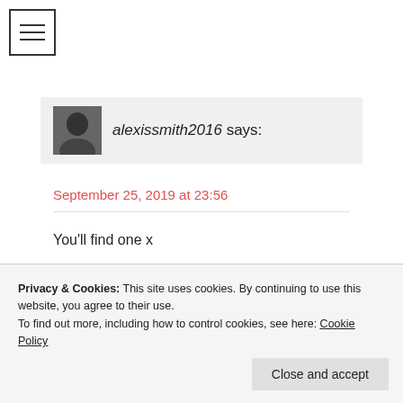[Figure (other): Hamburger menu icon with three horizontal lines in a bordered square]
[Figure (photo): Small black and white avatar photo of a person with dark hair]
alexissmith2016 says:
September 25, 2019 at 23:56
You'll find one x
Loading...
Privacy & Cookies: This site uses cookies. By continuing to use this website, you agree to their use.
To find out more, including how to control cookies, see here: Cookie Policy
Close and accept